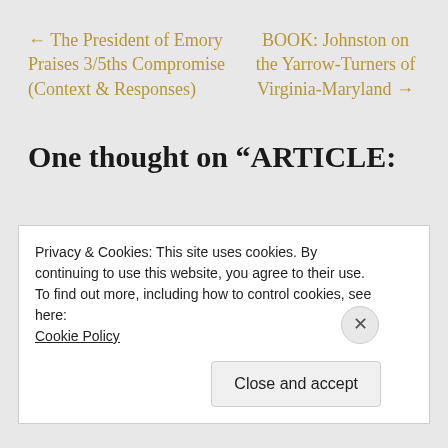← The President of Emory Praises 3/5ths Compromise (Context & Responses)
BOOK: Johnston on the Yarrow-Turners of Virginia-Maryland →
One thought on “ARTICLE:
Privacy & Cookies: This site uses cookies. By continuing to use this website, you agree to their use.
To find out more, including how to control cookies, see here: Cookie Policy
Close and accept